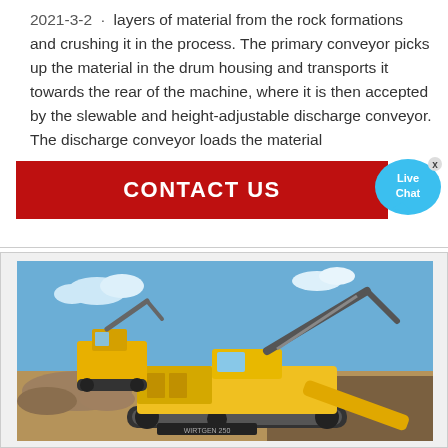2021-3-2 · layers of material from the rock formations and crushing it in the process. The primary conveyor picks up the material in the drum housing and transports it towards the rear of the machine, where it is then accepted by the slewable and height-adjustable discharge conveyor. The discharge conveyor loads the material
[Figure (infographic): Red CONTACT US banner with Live Chat bubble overlay and close (x) button]
[Figure (photo): Yellow heavy construction/mining machine (surface miner or road milling machine) working at a construction site with blue sky background and another yellow excavator in the background]